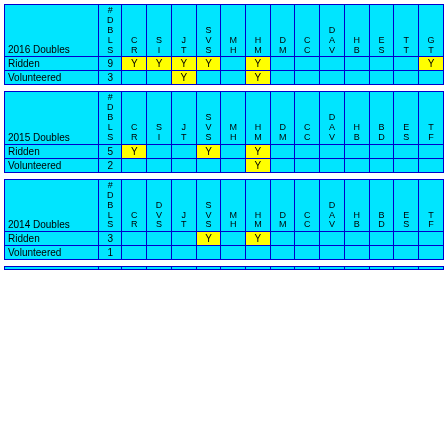| 2016 Doubles | #DBLS | CR | SI | JT | SVS | MH | HM | DM | CC | DAV | HB | ES | TT | GT |
| --- | --- | --- | --- | --- | --- | --- | --- | --- | --- | --- | --- | --- | --- | --- |
| Ridden | 9 | Y | Y | Y | Y |  | Y |  |  |  |  |  |  | Y |
| Volunteered | 3 |  |  | Y |  |  | Y |  |  |  |  |  |  |  |
| 2015 Doubles | #DBLS | CR | SI | JT | SVS | MH | HM | DM | CC | DAV | HB | BD | ES | TF |
| --- | --- | --- | --- | --- | --- | --- | --- | --- | --- | --- | --- | --- | --- | --- |
| Ridden | 5 | Y |  |  | Y |  | Y |  |  |  |  |  |  |  |
| Volunteered | 2 |  |  |  |  |  | Y |  |  |  |  |  |  |  |
| 2014 Doubles | #DBLS | CR | DVS | JT | SVS | MH | HM | DM | CC | DAV | HB | BD | ES | TF |
| --- | --- | --- | --- | --- | --- | --- | --- | --- | --- | --- | --- | --- | --- | --- |
| Ridden | 3 |  |  |  | Y |  | Y |  |  |  |  |  |  |  |
| Volunteered | 1 |  |  |  |  |  |  |  |  |  |  |  |  |  |